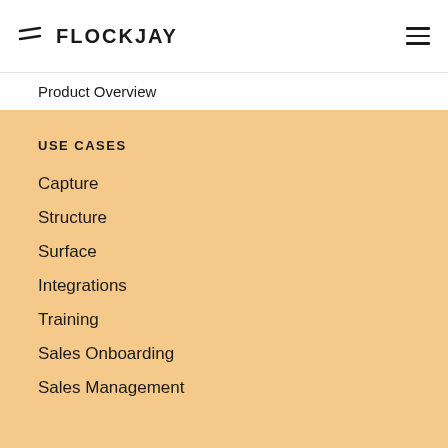FLOCKJAY
Product Overview
USE CASES
Capture
Structure
Surface
Integrations
Training
Sales Onboarding
Sales Management